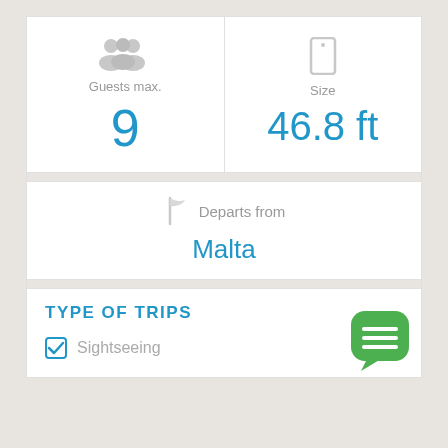[Figure (screenshot): Guests max. icon (group of people silhouette)]
Guests max.
9
[Figure (screenshot): Size icon (smartphone/device silhouette)]
Size
46.8 ft
[Figure (screenshot): Flag/departure icon]
Departs from
Malta
TYPE OF TRIPS
Sightseeing
[Figure (screenshot): Green chat bubble icon with menu lines]